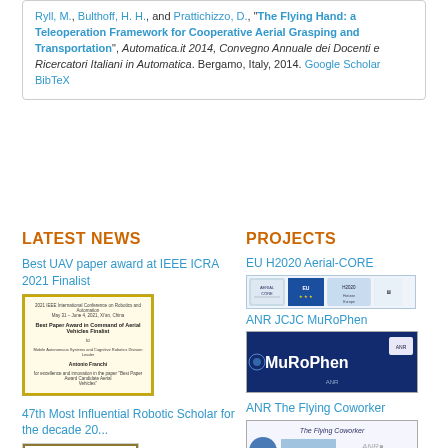Ryll, M., Bulthoff, H. H., and Prattichizzo, D., "The Flying Hand: a Teleoperation Framework for Cooperative Aerial Grasping and Transportation", Automatica.it 2014, Convegno Annuale dei Docenti e Ricercatori Italiani in Automatica. Bergamo, Italy, 2014. Google Scholar BibTeX
LATEST NEWS
PROJECTS
Best UAV paper award at IEEE ICRA 2021 Finalist
[Figure (photo): Certificate image for Best Paper Award in Command of Aerial Vehicles Finalist at IEEE ICRA 2021]
47th Most Influential Robotic Scholar for the decade 20...
[Figure (photo): Certificate for AI 2000 Most Influential Scholar Honorable Mention]
EU H2020 Aerial-CORE
[Figure (logo): EU H2020 Aerial-CORE project logos row]
ANR JCJC MuRoPhen
[Figure (logo): MuRoPhen project logo with blue background]
ANR The Flying Coworker
[Figure (logo): The Flying Coworker project logos]
Past Projects
LAAS-CNRS MBZIRC 2020
FlyCrane